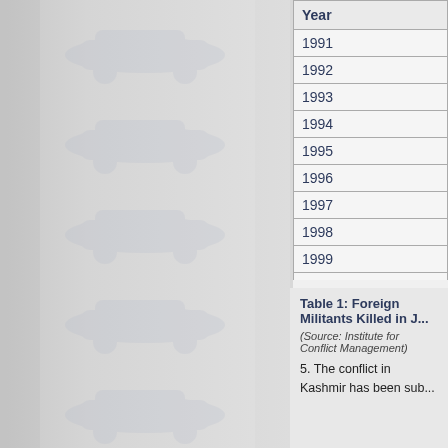[Figure (illustration): Left decorative column with repeating watermark/ghost images of cars on a grey textured background, creating a spine or binding effect]
| Year |
| --- |
| 1991 |
| 1992 |
| 1993 |
| 1994 |
| 1995 |
| 1996 |
| 1997 |
| 1998 |
| 1999 |
| 2000 |
| 2001 |
| Total |
Table 1: Foreign Militants Killed in J...
(Source: Institute for Conflict Management)
5. The conflict in Kashmir has been sub...